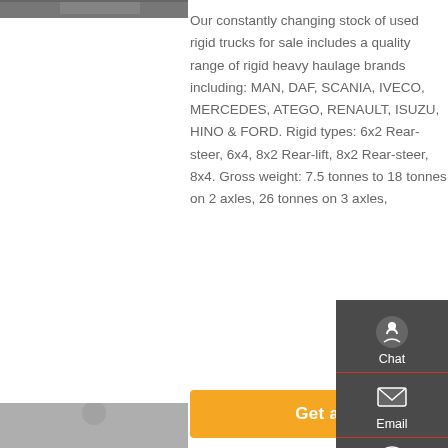[Figure (photo): Top portion of a truck photo, cropped at top of page on the left side]
Our constantly changing stock of used rigid trucks for sale includes a quality range of rigid heavy haulage brands including: MAN, DAF, SCANIA, IVECO, MERCEDES, ATEGO, RENAULT, ISUZU, HINO & FORD. Rigid types: 6x2 Rear-steer, 6x4, 8x2 Rear-lift, 8x2 Rear-steer, 8x4. Gross weight: 7.5 tonnes to 18 tonnes on 2 axles, 26 tonnes on 3 axles,
[Figure (screenshot): Sidebar contact widget with Chat, Email, Contact, and Top navigation icons on dark grey background]
[Figure (photo): Bottom portion of a truck photo, partially visible at bottom left of page]
Get a Quote